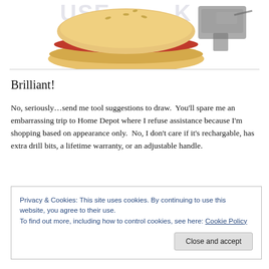[Figure (photo): Partial image of a sandwich with red toppings on a bun, partially overlapping with what appears to be a power tool or drill in the background. A watermark text is visible across the image.]
Brilliant!
No, seriously…send me tool suggestions to draw.  You'll spare me an embarrassing trip to Home Depot where I refuse assistance because I'm shopping based on appearance only.  No, I don't care if it's rechargable, has extra drill bits, a lifetime warranty, or an adjustable handle.
Privacy & Cookies: This site uses cookies. By continuing to use this website, you agree to their use.
To find out more, including how to control cookies, see here: Cookie Policy
Close and accept